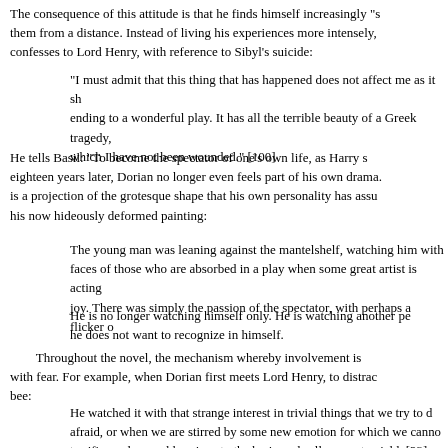The consequence of this attitude is that he finds himself increasingly "s them from a distance. Instead of living his experiences more intensely, confesses to Lord Henry, with reference to Sibyl's suicide:
"I must admit that this thing that has happened does not affect me as it sh ending to a wonderful play. It has all the terrible beauty of a Greek tragedy, which I have not been wounded." [100]
He tells Basil: "To become the spectator of one's own life, as Harry s eighteen years later, Dorian no longer even feels part of his own drama. is a projection of the grotesque shape that his own personality has assu his now hideously deformed painting:
The young man was leaning against the mantelshelf, watching him with faces of those who are absorbed in a play when some great artist is acting joy. There was simply the passion of the spectator, with perhaps a flicker o
He is no longer watching himself only. He is watching another pe he does not want to recognize in himself.
Throughout the novel, the mechanism whereby involvement is with fear. For example, when Dorian first meets Lord Henry, to distrac bee:
He watched it with that strange interest in trivial things that we try to d afraid, or when we are stirred by some new emotion for which we canno terrifies us lays sudden siege to the brain and calls on us to yield. [23]